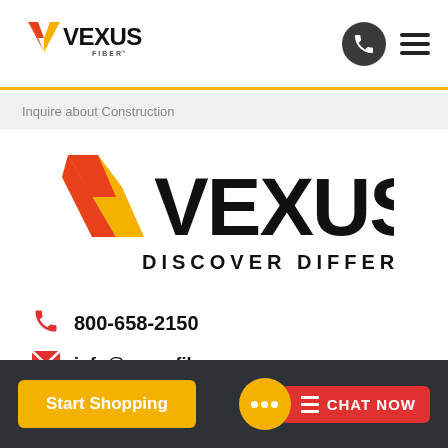[Figure (logo): Vexus Fiber logo in header - black V with orange/red chevron mark, text VEXUS with FIBER trademark below]
[Figure (logo): Phone icon circle button (dark grey) and hamburger menu icon in header]
Inquire about Construction
[Figure (logo): Large Vexus logo - black V with orange gradient chevron, VEXUS in large black text, DISCOVER DIFFERENT below in spaced capitals]
800-658-2150
info@vexusfiber.com
[Figure (other): Footer with Start Shopping yellow button on left and Chat Now button with yellow bubble and red box on right]